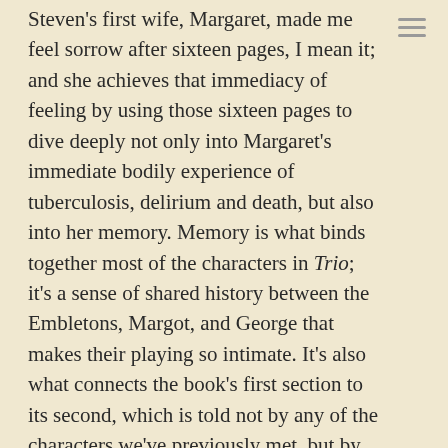Steven's first wife, Margaret, made me feel sorrow after sixteen pages, I mean it; and she achieves that immediacy of feeling by using those sixteen pages to dive deeply not only into Margaret's immediate bodily experience of tuberculosis, delirium and death, but also into her memory. Memory is what binds together most of the characters in Trio; it's a sense of shared history between the Embletons, Margot, and George that makes their playing so intimate. It's also what connects the book's first section to its second, which is told not by any of the characters we've previously met, but by Steven's son, sixty years in the future.

Although some of the characters fulfill certain stereotypical functions (Diana the beautiful;